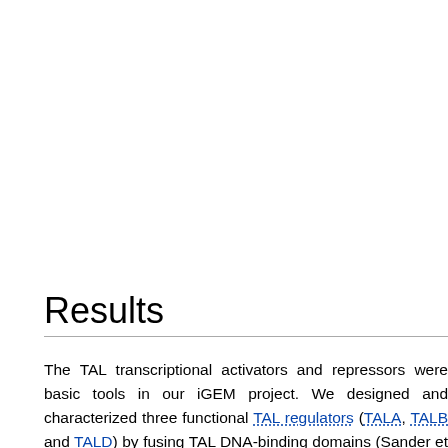Results
The TAL transcriptional activators and repressors were basic tools in our iGEM project. We designed and characterized three functional TAL regulators (TALA, TALB and TALD) by fusing TAL DNA-binding domains (Sander et al., 2011) with the VP16 activation domain